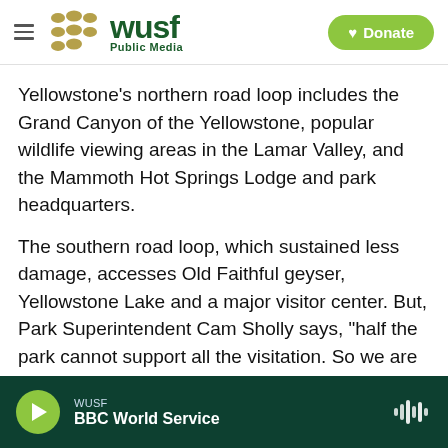WUSF Public Media — Donate
Yellowstone's northern road loop includes the Grand Canyon of the Yellowstone, popular wildlife viewing areas in the Lamar Valley, and the Mammoth Hot Springs Lodge and park headquarters.
The southern road loop, which sustained less damage, accesses Old Faithful geyser, Yellowstone Lake and a major visitor center. But, Park Superintendent Cam Sholly says, "half the park cannot support all the visitation. So we are exploring a range of options."
WUSF — BBC World Service